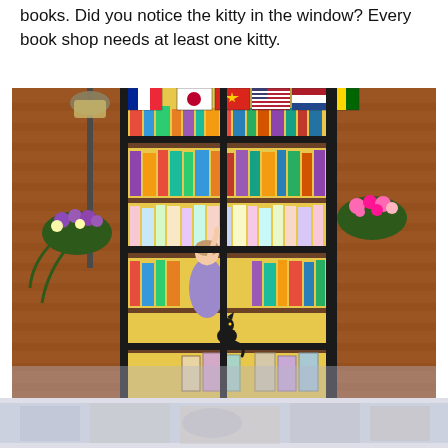books. Did you notice the kitty in the window? Every book shop needs at least one kitty.
[Figure (photo): A jigsaw puzzle image of a bookshop storefront exterior showing large windows filled with colorful bookshelves, international flags displayed across the top, hanging flower baskets on the left and right sides, a street lamp on the left, a person inside reaching up for a book, and a small black cat sitting in the lower center window. The bottom portion shows a faded/washed-out continuation of the scene.]